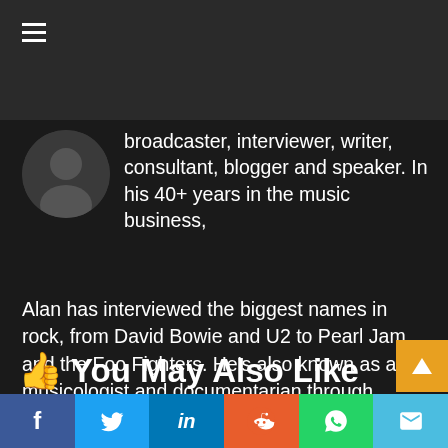[Figure (photo): Dark navigation header bar with hamburger menu icon]
[Figure (photo): Circular author photo thumbnail]
broadcaster, interviewer, writer, consultant, blogger and speaker. In his 40+ years in the music business, Alan has interviewed the biggest names in rock, from David Bowie and U2 to Pearl Jam and the Foo Fighters. He's also known as a musicologist and documentarian through programs like The Ongoing History of New Music.
👍 You May Also Like
[Figure (infographic): Social sharing bar with Facebook, Twitter, LinkedIn, Reddit, WhatsApp, and email buttons]